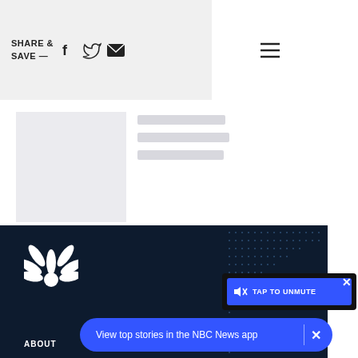SHARE & SAVE — [Facebook] [Twitter] [Email] [Menu]
[Figure (screenshot): Loading skeleton card 1 with grey image placeholder and three line placeholders]
[Figure (screenshot): Loading skeleton card 2 with grey image placeholder and three line placeholders]
[Figure (logo): NBC News peacock logo (white on dark navy background)]
[Figure (screenshot): Dot pattern decorative graphic in dark footer area]
ABOUT
DO NOT SELL MY
[Figure (screenshot): Video player overlay with TAP TO UNMUTE button in blue, X close button]
View top stories in the NBC News app